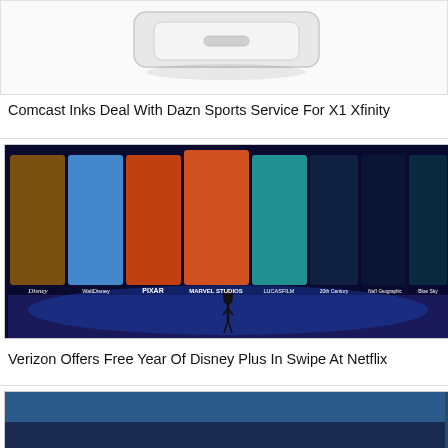[Figure (photo): Partial image of a white device (router/modem), cut off at top]
Comcast Inks Deal With Dazn Sports Service For X1 Xfinity
[Figure (photo): Disney+ promotional image showing characters from Lion King, Frozen (Elsa), Toy Story (Woody), Captain Marvel, and other Marvel/Lucasfilm characters on a dark stage with Disney, Walt Disney Animation Studios, Pixar, Marvel Studios, Lucasfilm, Fox, National Geographic, and Blue Sky logos. A presenter stands on stage below.]
Verizon Offers Free Year Of Disney Plus In Swipe At Netflix
[Figure (photo): Partial image of another article, cut off at bottom of page]